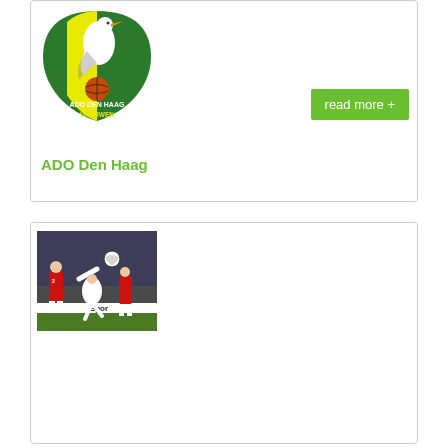[Figure (logo): ADO Den Haag Vrouwen football club logo — green and yellow shield with a white stork bird on a green/yellow background, text 'ADO DEN HAAG' and 'VROUWEN']
read more +
ADO Den Haag
[Figure (photo): Ajax football players in red and white jerseys performing an acrobatic overhead kick during a match, crowd visible in background, 'Sport' text visible on advertising board]